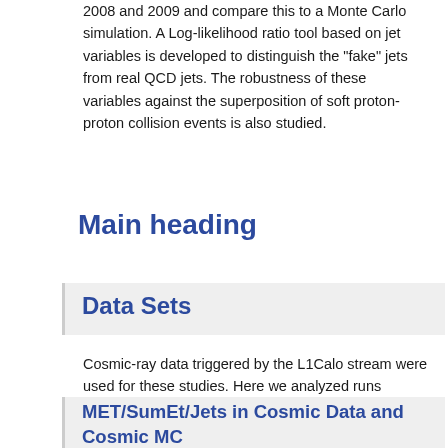2008 and 2009 and compare this to a Monte Carlo simulation. A Log-likelihood ratio tool based on jet variables is developed to distinguish the "fake" jets from real QCD jets. The robustness of these variables against the superposition of soft proton-proton collision events is also studied.
Main heading
Data Sets
Cosmic-ray data triggered by the L1Calo stream were used for these studies. Here we analyzed runs 90272, 91900, 92112 and 92160 taken in September/October 2008, and 137156, 137651, 137801 and 137831 taken in October/November 2009. Cosmic-ray Monte Carlo samples were produced using the known cosmic muon flux at the ground level. The 2008 cosmic-ray runs 91900, 92112 and 92160 were overlaid with minimum bias MC using Athena 15.3.1.5.
MET/SumEt/Jets in Cosmic Data and Cosmic MC